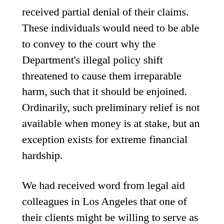received partial denial of their claims. These individuals would need to be able to convey to the court why the Department's illegal policy shift threatened to cause them irreparable harm, such that it should be enjoined. Ordinarily, such preliminary relief is not available when money is at stake, but an exception exists for extreme financial hardship.
We had received word from legal aid colleagues in Los Angeles that one of their clients might be willing to serve as a named plaintiff in our lawsuit. When I spoke with the client last March, she explained how she had attended a Corinthian program after school recruiters promised that her degree would qualify her for